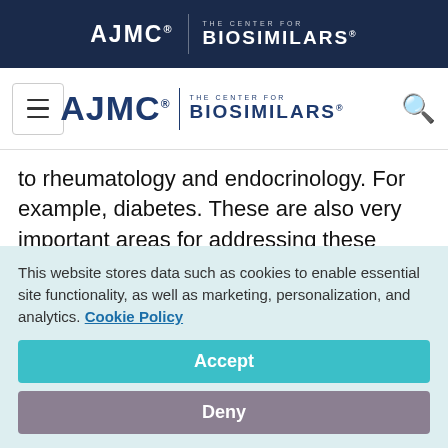[Figure (logo): AJMC and The Center for Biosimilars logo in white on dark navy header bar]
[Figure (logo): AJMC The Center for Biosimilars navigation logo with hamburger menu and search icon]
to rheumatology and endocrinology. For example, diabetes. These are also very important areas for addressing these patient populations.
Kashyap Patel, MD: I'm a little concerned about the near future of the biosimilar for...
This website stores data such as cookies to enable essential site functionality, as well as marketing, personalization, and analytics. Cookie Policy
Accept
Deny